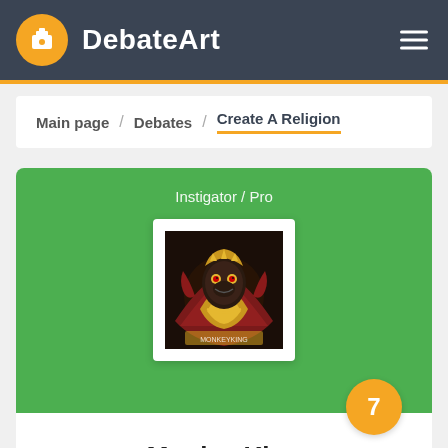DebateArt
Main page / Debates / Create A Religion
Instigator / Pro
[Figure (illustration): Avatar image of MonkeyKing — a fantasy warrior character with gold armor and red cape on dark background]
7
MonkeyKing
1507  2  50.0%